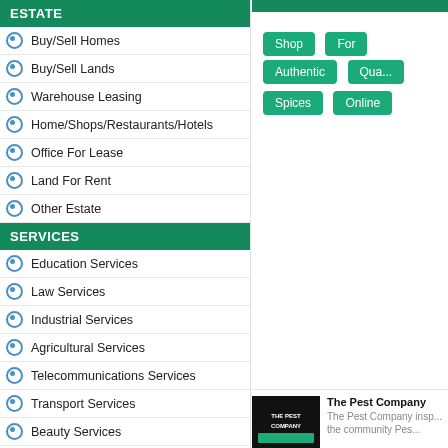ESTATE
Buy/Sell Homes
Buy/Sell Lands
Warehouse Leasing
Home/Shops/Restaurants/Hotels
Office For Lease
Land For Rent
Other Estate
SERVICES
Education Services
Law Services
Industrial Services
Agricultural Services
Telecommunications Services
Transport Services
Beauty Services
Event Services
Cooking Services
Child Care Services
Travel Services
Computers / IT Services
Advertising & Marketing Services
[Figure (other): Shop For Authentic Quality Spices Online tag buttons]
[Figure (logo): The Pest Company logo image]
The Pest Company
The Pest Company insp... the community Pes...